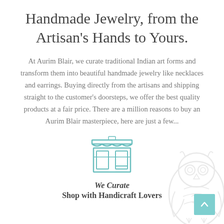Handmade Jewelry, from the Artisan's Hands to Yours.
At Aurim Blair, we curate traditional Indian art forms and transform them into beautiful handmade jewelry like necklaces and earrings. Buying directly from the artisans and shipping straight to the customer's doorsteps, we offer the best quality products at a fair price. There are a million reasons to buy an Aurim Blair masterpiece, here are just a few...
[Figure (illustration): Teal/turquoise storefront shop icon with awning and display window]
We Curate
Shop with Handicraft Lovers
[Figure (illustration): Decorative owl watermark in light grey at bottom right corner]
[Figure (other): Teal scroll-to-top button with upward chevron arrow at bottom right]